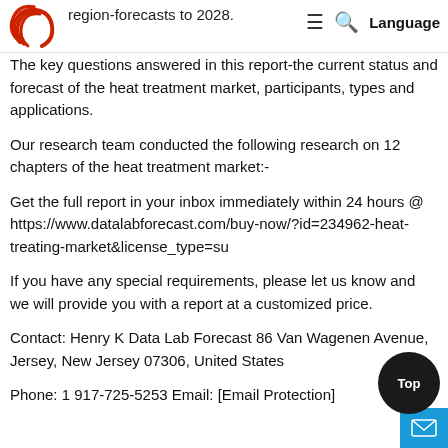region-forecasts to 2028.
[Figure (logo): Red curved lines logo (DataLab Forecast brand logo)]
The key questions answered in this report-the current status and forecast of the heat treatment market, participants, types and applications.
Our research team conducted the following research on 12 chapters of the heat treatment market:-
Get the full report in your inbox immediately within 24 hours @ https://www.datalabforecast.com/buy-now/?id=234962-heat-treating-market&license_type=su
If you have any special requirements, please let us know and we will provide you with a report at a customized price.
Contact: Henry K Data Lab Forecast 86 Van Wagenen Avenue, Jersey, New Jersey 07306, United States
Phone: 1 917-725-5253 Email: [Email Protection]